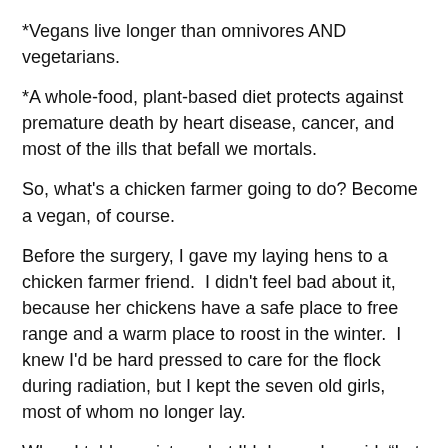*Vegans live longer than omnivores AND vegetarians.
*A whole-food, plant-based diet protects against premature death by heart disease, cancer, and most of the ills that befall we mortals.
So, what's a chicken farmer going to do? Become a vegan, of course.
Before the surgery, I gave my laying hens to a chicken farmer friend.  I didn't feel bad about it, because her chickens have a safe place to free range and a warm place to roost in the winter.  I knew I'd be hard pressed to care for the flock during radiation, but I kept the seven old girls, most of whom no longer lay.
When I told my sister what I'd done, she said, “Let me get this straight.  You gave away the layers and kept the old chickens?”